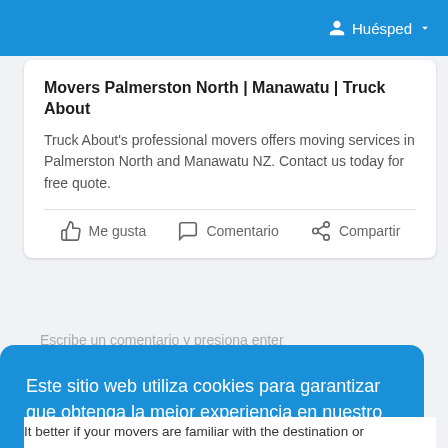Huésped
Movers Palmerston North | Manawatu | Truck About
Truck About's professional movers offers moving services in Palmerston North and Manawatu NZ. Contact us today for free quote.
Me gusta   Comentario   Compartir
Escribe un comentario y presiona enter
Este sitio web utiliza cookies para garantizar que obtenga la mejor experiencia en nuestro sitio web.  Aprende más
¡Lo tengo!
It better if your movers are familiar with the destination or